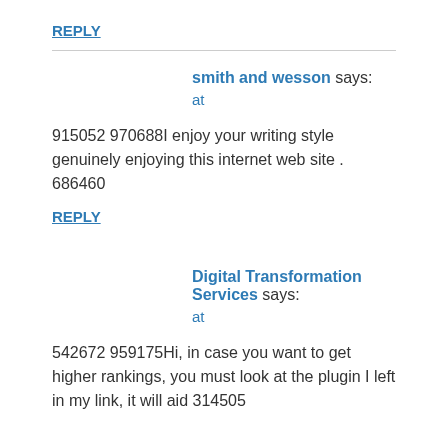REPLY
smith and wesson says:
at
915052 970688I enjoy your writing style genuinely enjoying this internet web site . 686460
REPLY
Digital Transformation Services says:
at
542672 959175Hi, in case you want to get higher rankings, you must look at the plugin I left in my link, it will aid 314505